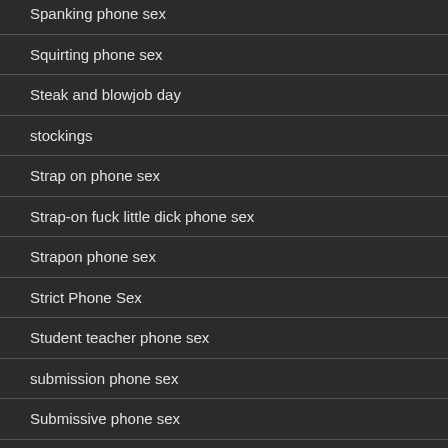Spanking phone sex
Squirting phone sex
Steak and blowjob day
stockings
Strap on phone sex
Strap-on fuck little dick phone sex
Strapon phone sex
Strict Phone Sex
Student teacher phone sex
submission phone sex
Submissive phone sex